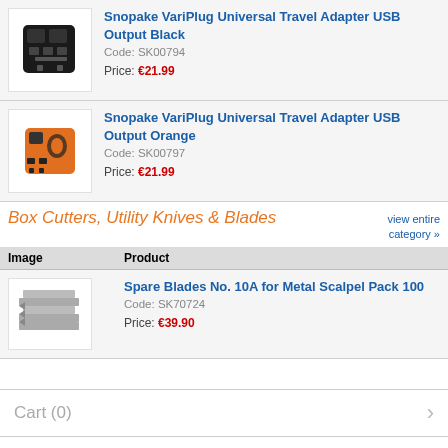[Figure (photo): Black universal travel adapter with USB ports]
Snopake VariPlug Universal Travel Adapter USB Output Black
Code: SK00794
Price: €21.99
[Figure (photo): Orange universal travel adapter with USB ports]
Snopake VariPlug Universal Travel Adapter USB Output Orange
Code: SK00797
Price: €21.99
Box Cutters, Utility Knives & Blades
view entire category »
| Image | Product |
| --- | --- |
| [image: spare blades] | Spare Blades No. 10A for Metal Scalpel Pack 100
Code: SK70724
Price: €39.90 |
Cart (0)
Your HuntOffice Account